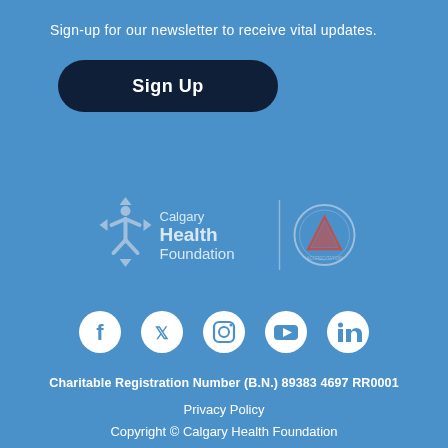Sign-up for our newsletter to receive vital updates.
Sign Up
[Figure (logo): Calgary Health Foundation logo and a secondary certification/accreditation circular logo side by side]
[Figure (infographic): Social media icons row: Facebook, Twitter, Instagram, YouTube, LinkedIn]
Charitable Registration Number (B.N.) 89383 4697 RR0001
Privacy Policy
Copyright © Calgary Health Foundation